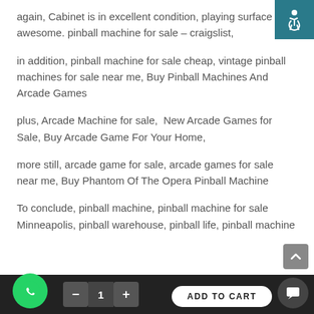again, Cabinet is in excellent condition, playing surface awesome. pinball machine for sale – craigslist,
in addition, pinball machine for sale cheap, vintage pinball machines for sale near me, Buy Pinball Machines And Arcade Games
plus, Arcade Machine for sale,  New Arcade Games for Sale, Buy Arcade Game For Your Home,
more still, arcade game for sale, arcade games for sale near me, Buy Phantom Of The Opera Pinball Machine
To conclude, pinball machine, pinball machine for sale Minneapolis, pinball warehouse, pinball life, pinball machine